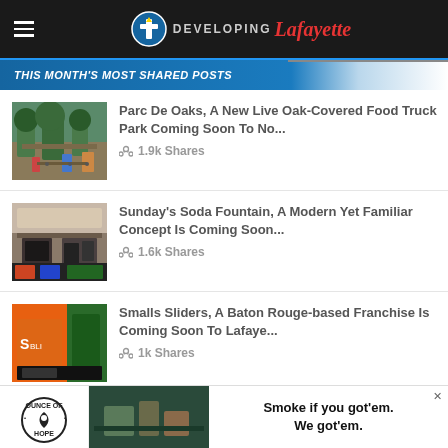Developing Lafayette
THIS MONTH'S MOST SHARED POSTS
[Figure (photo): Outdoor food truck park with live oak trees and people walking]
Parc De Oaks, A New Live Oak-Covered Food Truck Park Coming Soon To No... 1.9k Shares
[Figure (photo): Sunday's soda fountain storefront exterior]
Sunday's Soda Fountain, A Modern Yet Familiar Concept Is Coming Soon... 1.6k Shares
[Figure (photo): Smalls Sliders restaurant with orange and green branding]
Smalls Sliders, A Baton Rouge-based Franchise Is Coming Soon To Lafaye... 1k Shares
[Figure (photo): Advertisement: Ounce of Hope - Smoke if you got'em. We got'em.]